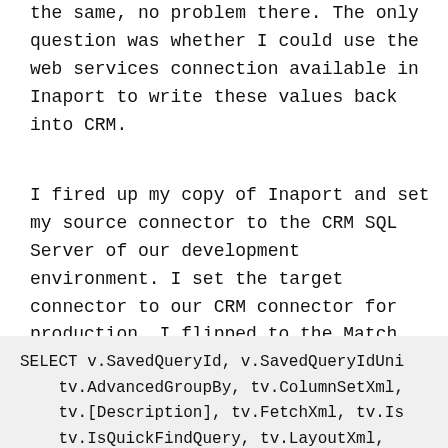the same, no problem there. The only question was whether I could use the web services connection available in Inaport to write these values back into CRM.
I fired up my copy of Inaport and set my source connector to the CRM SQL Server of our development environment. I set the target connector to our CRM connector for production. I flipped to the Match and Map to Target tab and sure enough it had an option to write to a savedquery table. I came up with the following query to actually retrieve the data from the database:
SELECT v.SavedQueryId, v.SavedQueryIdUni    tv.AdvancedGroupBy, tv.ColumnSetXml,    tv.[Description], tv.FetchXml, tv.Is    tv.IsQuickFindQuery, tv.LayoutXml,    tv.QueryType, tv.ReturnedTypeCode, t